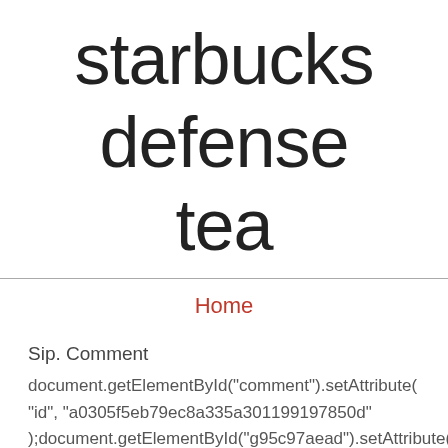starbucks defense tea
Home
Sip. Comment
document.getElementById("comment").setAttribute( "id", "a0305f5eb79ec8a335a301199197850d" );document.getElementById("g95c97aead").setAttribute( "id", "comment" ); Copyright ©2020, Totally The Bomb.com. Starbucks. $26.99 $ 26. Playing next Show all